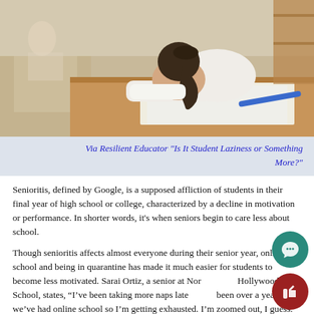[Figure (photo): A student slumped over a desk with head resting on arms, appearing exhausted or asleep. A blue pen is visible on the desk. Blurry classroom background with other students visible.]
Via Resilient Educator "Is It Student Laziness or Something More?"
Senioritis, defined by Google, is a supposed affliction of students in their final year of high school or college, characterized by a decline in motivation or performance. In shorter words, it's when seniors begin to care less about school.
Though senioritis affects almost everyone during their senior year, online school and being in quarantine has made it much easier for students to become less motivated. Sarai Ortiz, a senior at North Hollywood High School, states, “I’ve been taking more naps lately, it’s been over a year since we’ve had online school so I’m getting exhausted. I’m zoomed out, I guess."